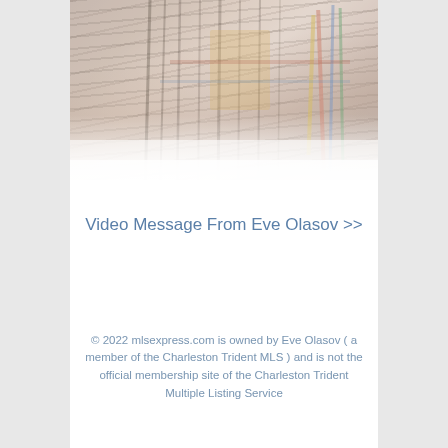[Figure (photo): Blurred motion photo showing colorful vertical lines and shapes, appearing to be chairs or furniture in motion blur with red, blue, green, and yellow color streaks]
Video Message From Eve Olasov >>
© 2022 mlsexpress.com is owned by Eve Olasov ( a member of the Charleston Trident MLS ) and is not the official membership site of the Charleston Trident Multiple Listing Service